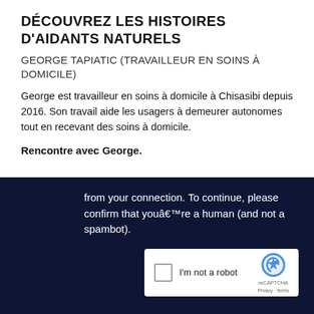DÉCOUVREZ LES HISTOIRES D'AIDANTS NATURELS
GEORGE TAPIATIC (TRAVAILLEUR EN SOINS À DOMICILE)
George est travailleur en soins à domicile à Chisasibi depuis 2016. Son travail aide les usagers à demeurer autonomes tout en recevant des soins à domicile.
Rencontre avec George.
[Figure (screenshot): A dark navy background overlay showing a CAPTCHA verification prompt with text 'from your connection. To continue, please confirm that youâ€™re a human (and not a spambot).' and a reCAPTCHA widget with checkbox labeled 'I'm not a robot']